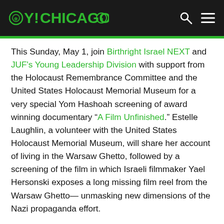OY!CHICAGO
This Sunday, May 1, join Birthright Israel NEXT and JUF's Young Leadership Division with support from the Holocaust Remembrance Committee and the United States Holocaust Memorial Museum for a very special Yom Hashoah screening of award winning documentary “A Film Unfinished.” Estelle Laughlin, a volunteer with the United States Holocaust Memorial Museum, will share her account of living in the Warsaw Ghetto, followed by a screening of the film in which Israeli filmmaker Yael Hersonski exposes a long missing film reel from the Warsaw Ghetto— unmasking new dimensions of the Nazi propaganda effort.